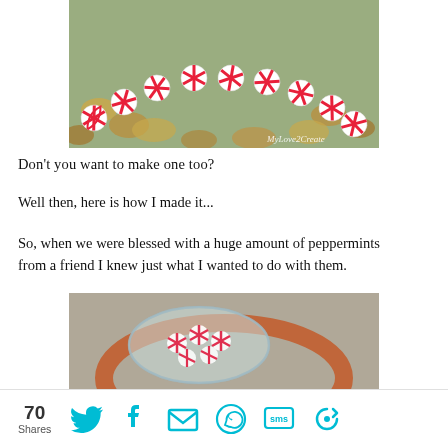[Figure (photo): Peppermint candy wreath arranged in a circle on the ground, red and white striped candies, outdoor setting with leaves. Watermark: MyLove2Create]
Don't you want to make one too?
Well then, here is how I made it...
So, when we were blessed with a huge amount of peppermints from a friend I knew just what I wanted to do with them.
[Figure (photo): Peppermint candies in a plastic bag sitting inside a terracotta pot, viewed from above on a concrete surface.]
70 Shares [Twitter] [Facebook] [Email] [WhatsApp] [SMS] [Share]